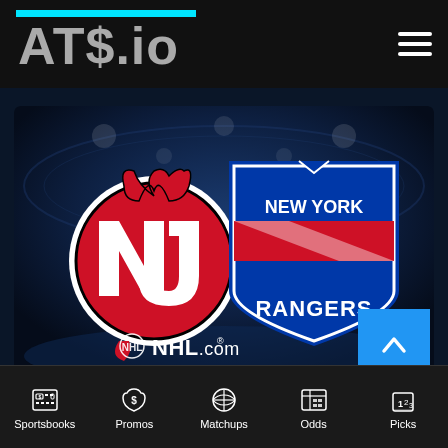ATS.io
[Figure (photo): NHL matchup image showing New Jersey Devils logo (red devil NJ) on left and New York Rangers shield logo on right, against a dark blue hockey arena background. NHL.com watermark at bottom center. Blue scroll-to-top button at bottom right.]
Sportsbooks | Promos | Matchups | Odds | Picks